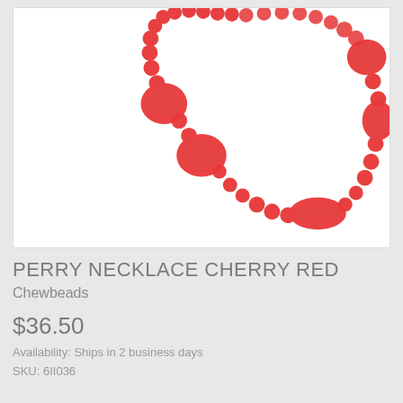[Figure (photo): A cherry red beaded necklace (Chewbeads Perry Necklace) with various round and flat oval/disc-shaped red beads on a white background.]
PERRY NECKLACE CHERRY RED
Chewbeads
$36.50
Availability: Ships in 2 business days
SKU: 6II036